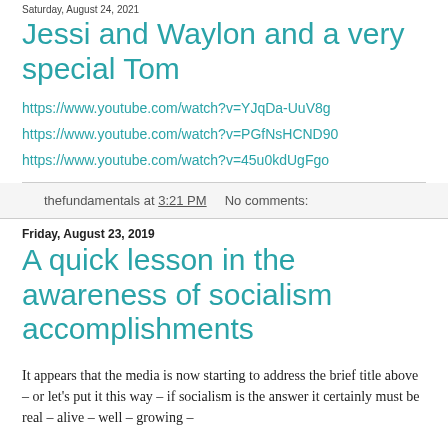Saturday, August 24, 2021
Jessi and Waylon and a very special Tom
https://www.youtube.com/watch?v=YJqDa-UuV8g
https://www.youtube.com/watch?v=PGfNsHCND90
https://www.youtube.com/watch?v=45u0kdUgFgo
thefundamentals at 3:21 PM    No comments:
Friday, August 23, 2019
A quick lesson in the awareness of socialism accomplishments
It appears that the media is now starting to address the brief title above – or let's put it this way – if socialism is the answer it certainly must be real – alive – well – growing –